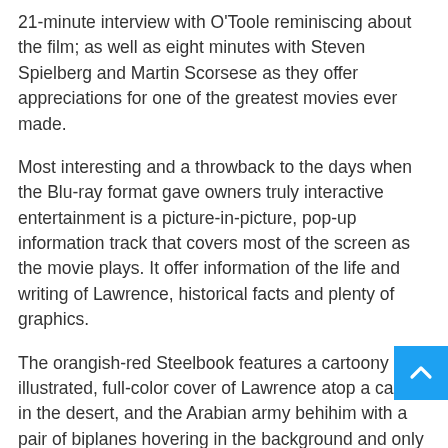21-minute interview with O'Toole reminiscing about the film; as well as eight minutes with Steven Spielberg and Martin Scorsese as they offer appreciations for one of the greatest movies ever made.
Most interesting and a throwback to the days when the Blu-ray format gave owners truly interactive entertainment is a picture-in-picture, pop-up information track that covers most of the screen as the movie plays. It offer information of the life and writing of Lawrence, historical facts and plenty of graphics.
The orangish-red Steelbook features a cartoony illustrated, full-color cover of Lawrence atop a camel in the desert, and the Arabian army behind him with a pair of biplanes hovering in the background and only a small image of a metal sheath (called an asib) used for his jambiya